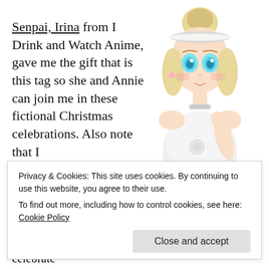Senpai, Irina from I Drink and Watch Anime, gave me the gift that is this tag so she and Annie can join me in these fictional Christmas celebrations. Also note that I was actually supposed to have a post about Wild Wild
[Figure (illustration): Anime-style illustration of a blonde girl with blue eyes wearing a white dress and a white hairband, holding a star-shaped ornament, with pink earrings.]
Privacy & Cookies: This site uses cookies. By continuing to use this website, you agree to their use.
To find out more, including how to control cookies, see here: Cookie Policy
Close and accept
we could not visit. I assume most of us will celebrate